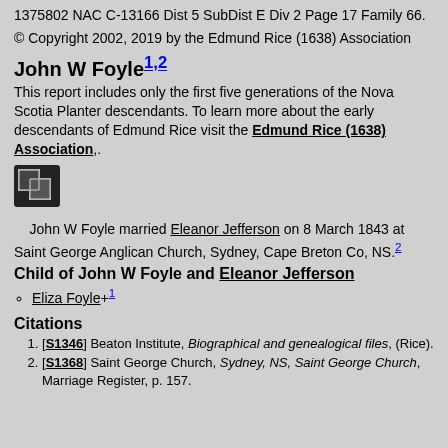1375802 NAC C-13166 Dist 5 SubDist E Div 2 Page 17 Family 66.
© Copyright 2002, 2019 by the Edmund Rice (1638) Association
John W Foyle1,2
This report includes only the first five generations of the Nova Scotia Planter descendants. To learn more about the early descendants of Edmund Rice visit the Edmund Rice (1638) Association,.
[Figure (other): Small icon with two overlapping rectangles/squares on dark background]
John W Foyle married Eleanor Jefferson on 8 March 1843 at Saint George Anglican Church, Sydney, Cape Breton Co, NS.2
Child of John W Foyle and Eleanor Jefferson
Eliza Foyle+1
Citations
[S1346] Beaton Institute, Biographical and genealogical files, (Rice).
[S1368] Saint George Church, Sydney, NS, Saint George Church, Marriage Register, p. 157.